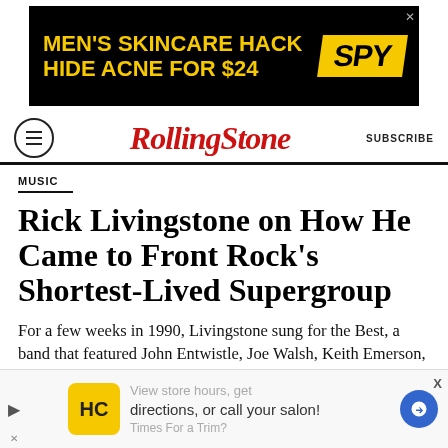[Figure (infographic): Black advertisement banner: MEN'S SKINCARE HACK / HIDE ACNE FOR $24 with SPY logo in yellow on black background]
RollingStone   SUBSCRIBE
MUSIC
Rick Livingstone on How He Came to Front Rock's Shortest-Lived Supergroup
For a few weeks in 1990, Livingstone sung for the Best, a band that featured John Entwistle, Joe Walsh, Keith Emerson, and Jeff "Skunk" Baxter
[Figure (infographic): Bottom advertisement banner with HC logo in yellow square, text: View store hours, get directions, or call your salon! with blue directional arrow icon]